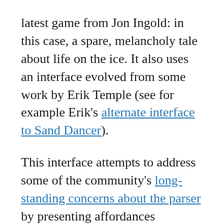latest game from Jon Ingold: in this case, a spare, melancholy tale about life on the ice. It also uses an interface evolved from some work by Erik Temple (see for example Erik's alternate interface to Sand Dancer).
This interface attempts to address some of the community's long-standing concerns about the parser by presenting affordances explicitly. The player can click on hyperlinked objects in room descriptions and inventory and receive a list of plausible ways to interact with these. The result is a play experience with the noun-and-verb variety of classic parsed IF, a more consistent world model than the average CYOA, and enough